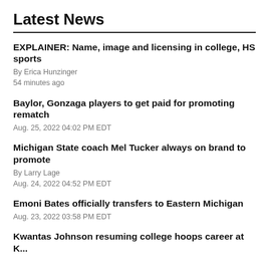Latest News
EXPLAINER: Name, image and licensing in college, HS sports
By Erica Hunzinger
54 minutes ago
Baylor, Gonzaga players to get paid for promoting rematch
Aug. 25, 2022 04:02 PM EDT
Michigan State coach Mel Tucker always on brand to promote
By Larry Lage
Aug. 24, 2022 04:52 PM EDT
Emoni Bates officially transfers to Eastern Michigan
Aug. 23, 2022 03:58 PM EDT
Kwantas Johnson resuming college hoops career at K...